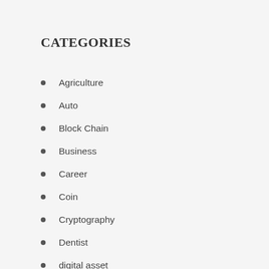Categories
Agriculture
Auto
Block Chain
Business
Career
Coin
Cryptography
Dentist
digital asset
Entertainment
Fashion